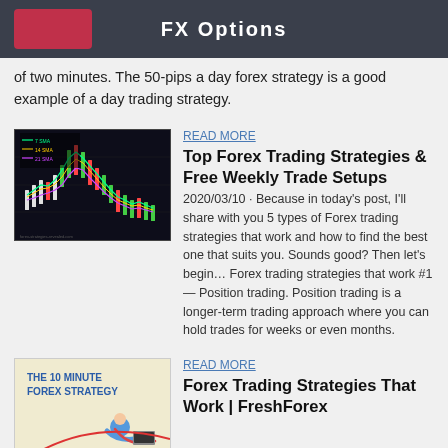FX Options
of two minutes. The 50-pips a day forex strategy is a good example of a day trading strategy.
[Figure (screenshot): Forex trading chart showing candlesticks with moving averages (7 SMA, 14 SMA, 21 SMA) in green, yellow, and purple on a dark background]
READ MORE
Top Forex Trading Strategies & Free Weekly Trade Setups
2020/03/10 · Because in today’s post, I’ll share with you 5 types of Forex trading strategies that work and how to find the best one that suits you. Sounds good? Then let’s begin… Forex trading strategies that work #1 — Position trading. Position trading is a longer-term trading approach where you can hold trades for weeks or even months.
[Figure (illustration): The 10 Minute Forex Strategy - illustration of person relaxing with a laptop]
READ MORE
Forex Trading Strategies That Work | FreshForex